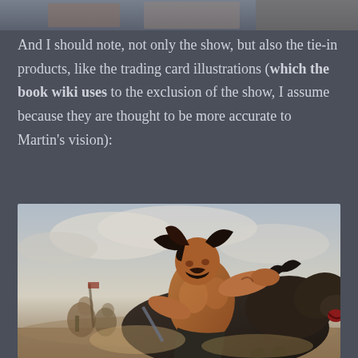[Figure (photo): Partial view of top image, appears to show costumed figures or actors]
And I should note, not only the show, but also the tie-in products, like the trading card illustrations (which the book wiki uses to the exclusion of the show, I assume because they are thought to be more accurate to Martin's vision):
[Figure (illustration): Fantasy illustration of a muscular, shirtless warrior with long dark hair riding a dark horse at full gallop, with background figures and cloudy sky — trading card style artwork]